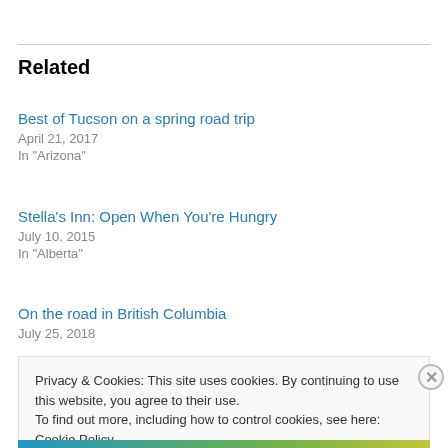Related
Best of Tucson on a spring road trip
April 21, 2017
In "Arizona"
Stella's Inn: Open When You're Hungry
July 10, 2015
In "Alberta"
On the road in British Columbia
July 25, 2018
Privacy & Cookies: This site uses cookies. By continuing to use this website, you agree to their use.
To find out more, including how to control cookies, see here: Cookie Policy
Close and accept